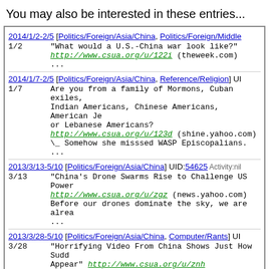You may also be interested in these entries...
2014/1/2-2/5 [Politics/Foreign/Asia/China, Politics/Foreign/Middle...]
1/2  "What would a U.S.-China war look like?"
     http://www.csua.org/u/122i (theweek.com)
     ...
2014/1/7-2/5 [Politics/Foreign/Asia/China, Reference/Religion] UI...
1/7  Are you from a family of Mormons, Cuban exiles,
     Indian Americans, Chinese Americans, American Je...
     or Lebanese Americans?
     http://www.csua.org/u/123d (shine.yahoo.com)
     \_ Somehow she misssed WASP Episcopalians.
     ...
2013/3/13-5/10 [Politics/Foreign/Asia/China] UID:54625 Activity:nil
3/13  "China's Drone Swarms Rise to Challenge US Power"
      http://www.csua.org/u/zgz (news.yahoo.com)
      Before our drones dominate the sky, we are alrea...
      ...
2013/3/28-5/10 [Politics/Foreign/Asia/China, Computer/Rants] UID...
3/28  "Horrifying Video From China Shows Just How Sudd...
      Appear"  http://www.csua.org/u/znh (http://www.b...
      ...
2013/2/5-3/4 [Politics/Domestic/Immigration] UID:54598 Activity:...